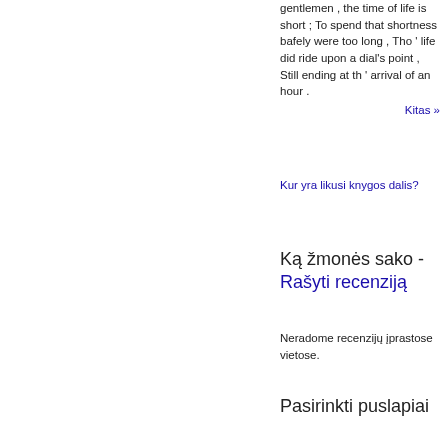gentlemen , the time of life is short ; To spend that shortness bafely were too long , Tho ' life did ride upon a dial's point , Still ending at th ' arrival of an hour .
Kitas »
Kur yra likusi knygos dalis?
Ką žmonės sako - Rašyti recenziją
Neradome recenzijų įprastose vietose.
Pasirinkti puslapiai